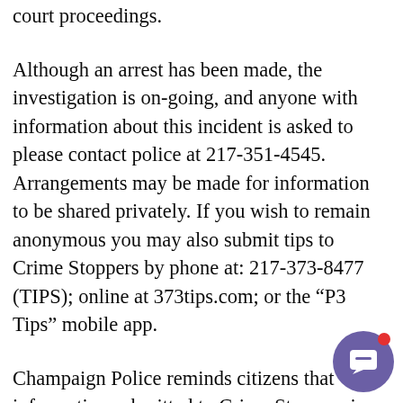court proceedings.
Although an arrest has been made, the investigation is on-going, and anyone with information about this incident is asked to please contact police at 217-351-4545. Arrangements may be made for information to be shared privately. If you wish to remain anonymous you may also submit tips to Crime Stoppers by phone at: 217-373-8477 (TIPS); online at 373tips.com; or the “P3 Tips” mobile app.
Champaign Police reminds citizens that information submitted to Crime Stoppers is completely anonymous. Calls are routed to a third-party national call center that receives your information, completes a tips
[Figure (other): Purple circular chat bubble icon with a white speech bubble symbol and a red notification dot in the upper right corner]